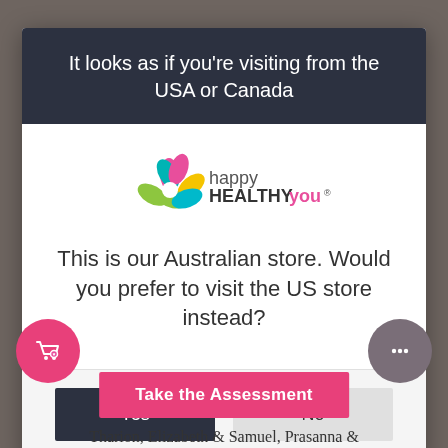[Figure (screenshot): Website popup modal on happyhealthyyou.com.au asking if the user wants to visit the US store instead. The modal has a dark navy header, the Happy Healthy You logo, question text, and Yes/No buttons. Background shows a blurred webpage. Bottom elements include a pink cart button, a gray chat button, a pink 'Take the Assessment' button, and partial text 'Tharion, Elizabeth & Samuel, Prasanna &'.]